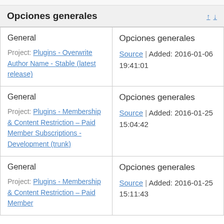Opciones generales
|  |  |
| --- | --- |
| General
Project: Plugins - Overwrite Author Name - Stable (latest release) | Opciones generales
Source | Added: 2016-01-06 19:41:01 |
| General
Project: Plugins - Membership & Content Restriction – Paid Member Subscriptions - Development (trunk) | Opciones generales
Source | Added: 2016-01-25 15:04:42 |
| General
Project: Plugins - Membership & Content Restriction – Paid Member | Opciones generales
Source | Added: 2016-01-25 15:11:43 |